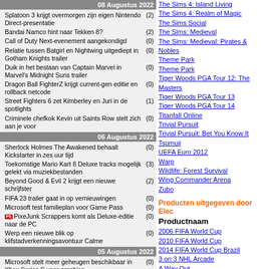08 Augustus 2022
Splatoon 3 krijgt overmorgen zijn eigen Nintendo Direct-presentatie (2)
Bandai Namco hint naar Tekken 8? (2)
Call of Duty Next-evenement aangekondigd (0)
Relatie tussen Batgirl en Nightwing uitgediept in Gotham Knights trailer (0)
Duik in het bestaan van Captain Marvel in Marvel's Midnight Suns trailer (0)
Dragon Ball FighterZ krijgt current-gen editie en rollback netcode (0)
Street Fighters 6 zet Kimberley en Juri in de spotlights (1)
Criminele chefkok Kevin uit Saints Row stelt zich aan je voor (0)
06 Augustus 2022
Sherlock Holmes The Awakened behaalt Kickstarter in zes uur tijd (0)
Toekomstige Mario Kart 8 Deluxe tracks mogelijk gelekt via muziekbestanden (3)
Beyond Good & Evil 2 krijgt een nieuwe schrijfster (2)
FIFA 23 trailer gaat in op vernieuwingen (0)
Microsoft test familieplan voor Game Pass (0)
PixeJunk Scrappers komt als Deluxe-editie naar de PC (0)
Werp een nieuwe blik op klifstadverkenningsavontuur Calme (0)
05 Augustus 2022
Microsoft stelt meer geheugen beschikbaar in Xbox Series S voor graphics (0)
Cult of the Lamb toont zijn vier eindbazen (0)
QuakeCon programma bekend gemaakt (0)
Cross-play in F1 22 voorafgegaan door trials (0)
Children of the Worm is tweede uitbreiding voor Back 4 Blood (0)
04 Augustus 2022
Tussenfilmpje van Hogwarts Legacy getoond (0)
Nintendo komt dit financiële jaar niet met nieuwe hardware (1)
The Sims 4: Island Living
The Sims 4: Realm of Magic
The Sims Social
The Sims: Medieval
The Sims: Medieval: Pirates & Nobles
Theme Park
Theme Park
Tiger Woods PGA Tour 12: The Masters
Tiger Woods PGA Tour 13
Tiger Woods PGA Tour 14
Titanfall Online
Trivial Pursuit
Trivial Pursuit: Bet You Know It
Tsumuji
UEFA Euro 2012
Warp
Wildlife: Forest Survival
Wing Commander Arena
Zubo
Producten uitgegeven door Elec...
Productnaam
2006 FIFA World Cup
2010 FIFA World Cup
2014 FIFA World Cup Brazil
3 on 3 NHL Arcade
A Way Out
Alice: Madness Returns
Anthem
Apex Legends
Apex Legends: Mobile
Army of Two
Army of Two
Army of Two: The 40th Day
Army of Two: The 40th Day: Chapter...